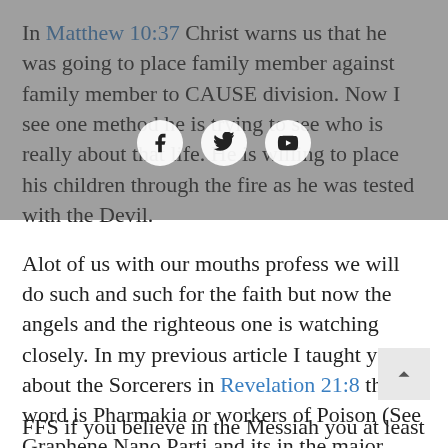In Matthew 10:37 Christ warns us that he was going to place family member against family member to CAUSE division. Now I see one method he is trying to see who is really about that life. He is willing to place his children through the fire as he was tested with the Devil.
Alot of us with our mouths profess we will do such and such for the faith but now the angels and the righteous one is watching closely. In my previous article I taught you about the Sorcerers in Revelation 21:8 that word is Pharmakia or workers of Poison (See Graphene Nano Parti and its in the major vaccines.
FFS if you believe in the Messiah you at least